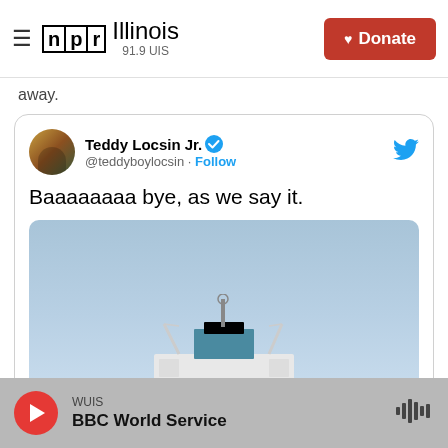NPR Illinois 91.9 UIS — Donate
away.
[Figure (screenshot): Embedded tweet from Teddy Locsin Jr. (@teddyboylocsin) with verified badge, Follow button, Twitter bird icon. Tweet text: 'Baaaaaaaa bye, as we say it.' with an attached image showing the top superstructure of a ship against a light blue sky.]
WUIS — BBC World Service (audio player bar)